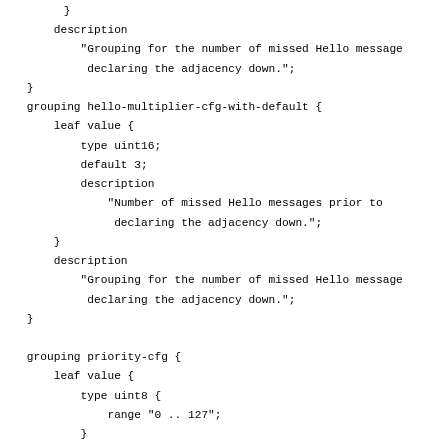}
        description
            "Grouping for the number of missed Hello messages prior to
             declaring the adjacency down.";
    }
    grouping hello-multiplier-cfg-with-default {
        leaf value {
            type uint16;
            default 3;
            description
                "Number of missed Hello messages prior to
                 declaring the adjacency down.";
        }
        description
            "Grouping for the number of missed Hello messages prior to
             declaring the adjacency down.";
    }

    grouping priority-cfg {
        leaf value {
            type uint8 {
                range "0 .. 127";
            }
            description
                "Priority of the interface for DIS election.";
        }

        description
            "Interface DIS election priority grouping.";
    }